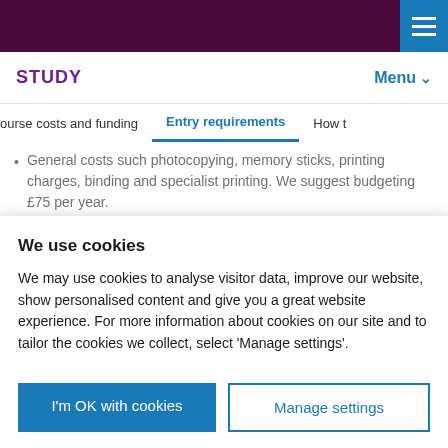STUDY | Menu
ourse costs and funding | Entry requirements | How t
General costs such photocopying, memory sticks, printing charges, binding and specialist printing. We suggest budgeting £75 per year.
Final project transport or accommodation where
We use cookies
We may use cookies to analyse visitor data, improve our website, show personalised content and give you a great website experience. For more information about cookies on our site and to tailor the cookies we collect, select 'Manage settings'.
I'm OK with cookies | Manage settings